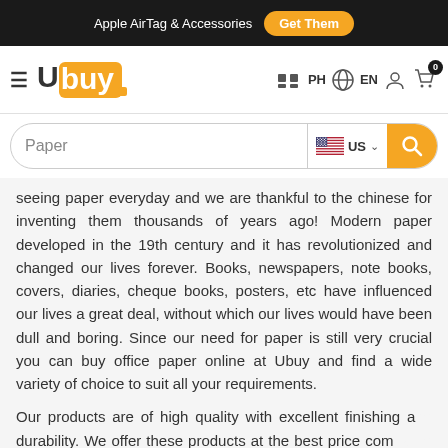Apple AirTag & Accessories  Get Them
[Figure (logo): Ubuy logo with hamburger menu, PH country selector, EN language selector, user icon, and cart icon with 0 badge]
[Figure (screenshot): Search bar with 'Paper' query, US flag country selector, and yellow search button]
seeing paper everyday and we are thankful to the chinese for inventing them thousands of years ago! Modern paper developed in the 19th century and it has revolutionized and changed our lives forever. Books, newspapers, note books, covers, diaries, cheque books, posters, etc have influenced our lives a great deal, without which our lives would have been dull and boring. Since our need for paper is still very crucial you can buy office paper online at Ubuy and find a wide variety of choice to suit all your requirements.
Our products are of high quality with excellent finishing and durability. We offer these products at the best price compared to other places. Shop office paper supplies online at Ubuy for amazing products at awesome prices!